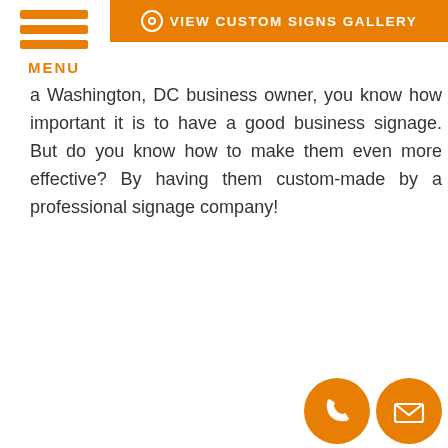[Figure (other): Orange banner with eye icon and text VIEW CUSTOM SIGNS GALLERY]
[Figure (other): Hamburger menu icon with three orange horizontal lines and MENU label in orange]
a Washington, DC business owner, you know how important it is to have a good business signage. But do you know how to make them even more effective? By having them custom-made by a professional signage company!
[Figure (other): Two orange circular icons at bottom right: a phone icon and an envelope/email icon]